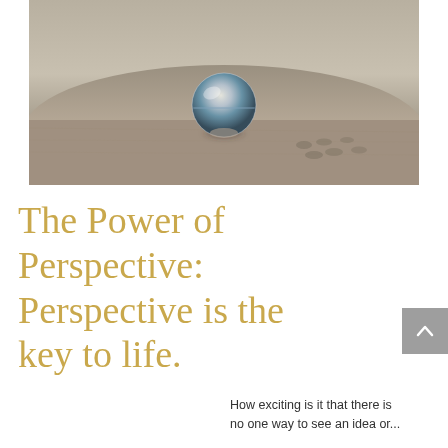[Figure (photo): A glass crystal ball sitting on sandy beach, reflecting the horizon. Sepia-toned photograph with footprints visible in the sand behind the ball.]
The Power of Perspective: Perspective is the key to life.
How exciting is it that there is no one way to see an idea or...